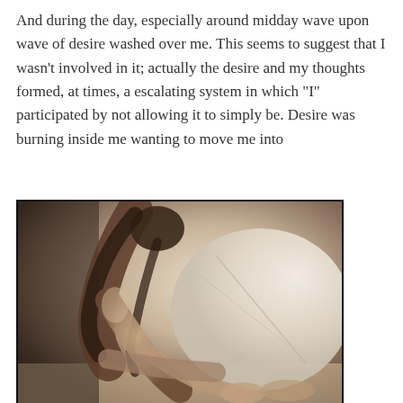And during the day, especially around midday wave upon wave of desire washed over me. This seems to suggest that I wasn't involved in it; actually the desire and my thoughts formed, at times, a escalating system in which "I" participated by not allowing it to simply be. Desire was burning inside me wanting to move me into
[Figure (photo): A sepia-toned photograph of a person with long hair hunched over, sitting on a bed with white bedding/pillows in the background. The image is artistic and moody in tone.]